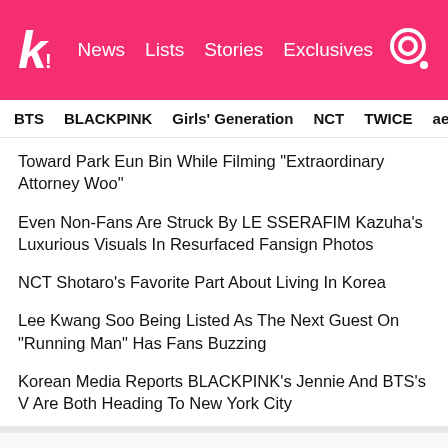k! News Lists Stories Exclusives
BTS  BLACKPINK  Girls' Generation  NCT  TWICE  aespa
Toward Park Eun Bin While Filming "Extraordinary Attorney Woo"
Even Non-Fans Are Struck By LE SSERAFIM Kazuha's Luxurious Visuals In Resurfaced Fansign Photos
NCT Shotaro's Favorite Part About Living In Korea
Lee Kwang Soo Being Listed As The Next Guest On "Running Man" Has Fans Buzzing
Korean Media Reports BLACKPINK's Jennie And BTS's V Are Both Heading To New York City
NEXT ARTICLE
WayV's Stylists Under Fire After